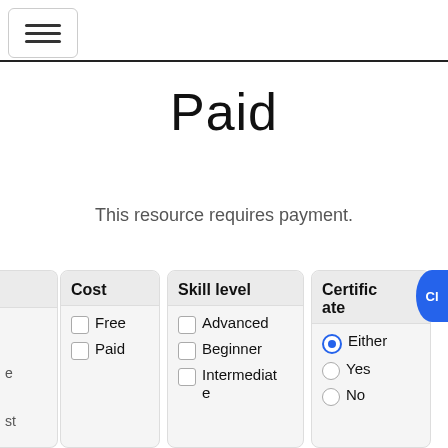Paid
This resource requires payment.
| Cost | Skill level | Certificate |
| --- | --- | --- |
| ☐ Free
☐ Paid | ☐ Advanced
☐ Beginner
☐ Intermediate | ⦿ Either
○ Yes
○ No |